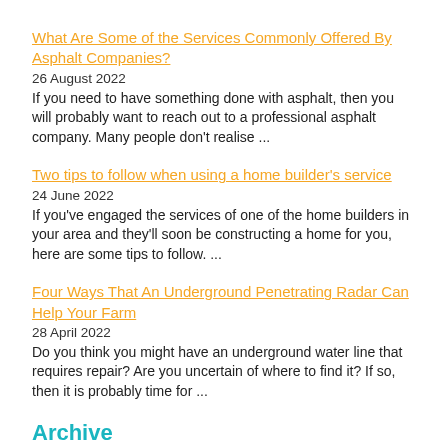What Are Some of the Services Commonly Offered By Asphalt Companies?
26 August 2022
If you need to have something done with asphalt, then you will probably want to reach out to a professional asphalt company. Many people don't realise ...
Two tips to follow when using a home builder's service
24 June 2022
If you've engaged the services of one of the home builders in your area and they'll soon be constructing a home for you, here are some tips to follow. ...
Four Ways That An Underground Penetrating Radar Can Help Your Farm
28 April 2022
Do you think you might have an underground water line that requires repair? Are you uncertain of where to find it? If so, then it is probably time for ...
Archive
2015